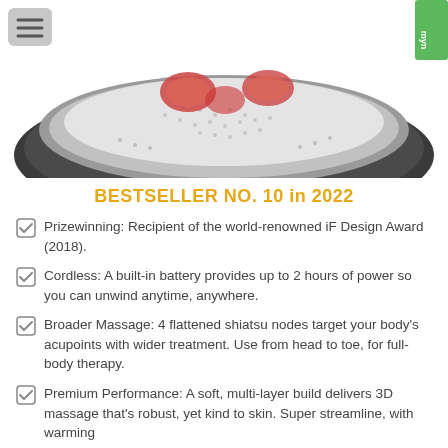[Figure (photo): A shiatsu massage pillow/cushion product shown from above. It has a dark gray textured border/frame with a lighter mesh surface in the center showing red/pink heated massage nodes. A small navigation menu icon button is visible in the top-left corner. A brand logo appears in the top-right corner.]
BESTSELLER NO. 10 in 2022
Prizewinning: Recipient of the world-renowned iF Design Award (2018).
Cordless: A built-in battery provides up to 2 hours of power so you can unwind anytime, anywhere.
Broader Massage: 4 flattened shiatsu nodes target your body's acupoints with wider treatment. Use from head to toe, for full-body therapy.
Premium Performance: A soft, multi-layer build delivers 3D massage that's robust, yet kind to skin. Super streamline, with warming